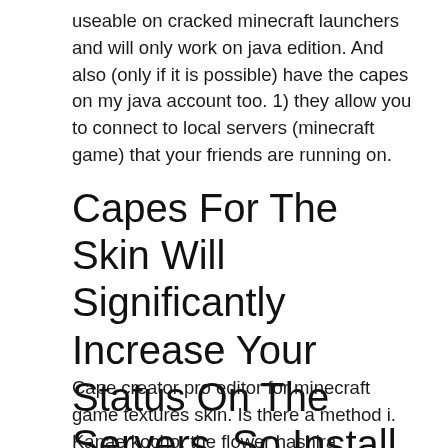useable on cracked minecraft launchers and will only work on java edition. And also (only if it is possible) have the capes on my java account too. 1) they allow you to connect to local servers (minecraft game) that your friends are running on.
Capes For The Skin Will Significantly Increase Your Status On The Servers, So Install Them Without Hesitation
Cape creator pro editor for minecraft game textures skin. Is there a method i. Kanae kocho, the flower hashira [demonslayer]